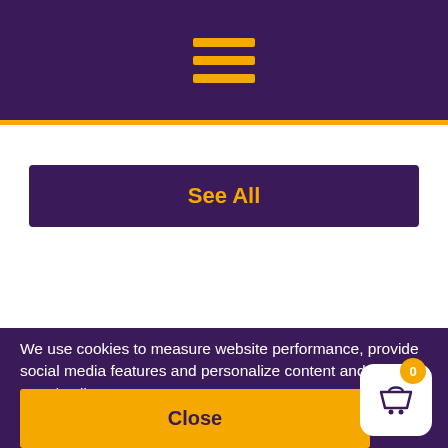[Figure (screenshot): Purple header bar with hamburger menu icon (three horizontal orange/gold lines)]
[Figure (screenshot): See All button with purple background and gold text]
We use cookies to measure website performance, provide social media features and personalize content and ads.
See details
[Figure (screenshot): Close button (orange background, dark text) and shopping basket widget with badge showing 0]